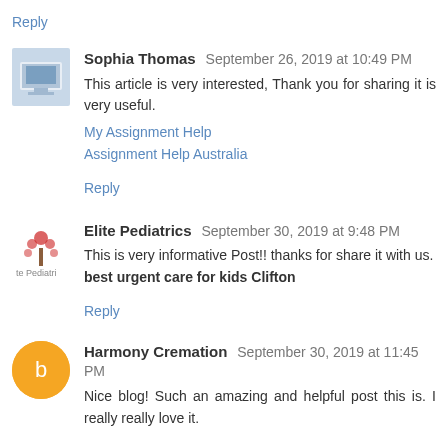Reply
Sophia Thomas  September 26, 2019 at 10:49 PM
This article is very interested, Thank you for sharing it is very useful.
My Assignment Help
Assignment Help Australia
Reply
Elite Pediatrics  September 30, 2019 at 9:48 PM
This is very informative Post!! thanks for share it with us. best urgent care for kids Clifton
Reply
Harmony Cremation  September 30, 2019 at 11:45 PM
Nice blog! Such an amazing and helpful post this is. I really really love it.